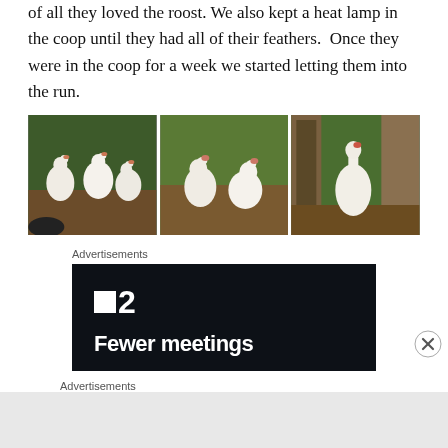of all they loved the roost. We also kept a heat lamp in the coop until they had all of their feathers. Once they were in the coop for a week we started letting them into the run.
[Figure (photo): Three panel photo collage of white turkeys outdoors: left panel shows three white turkeys standing in a run with green foliage behind; center panel shows two white turkeys on dirt ground; right panel shows one white turkey standing near a wooden coop door.]
Advertisements
[Figure (screenshot): Dark advertisement banner with a logo showing a small white square followed by the number 2, and bold white text reading 'Fewer meetings' at the bottom.]
Advertisements